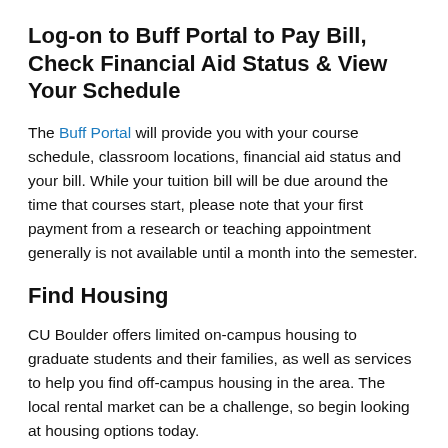Log-on to Buff Portal to Pay Bill, Check Financial Aid Status & View Your Schedule
The Buff Portal will provide you with your course schedule, classroom locations, financial aid status and your bill. While your tuition bill will be due around the time that courses start, please note that your first payment from a research or teaching appointment generally is not available until a month into the semester.
Find Housing
CU Boulder offers limited on-campus housing to graduate students and their families, as well as services to help you find off-campus housing in the area. The local rental market can be a challenge, so begin looking at housing options today.
Housing Information